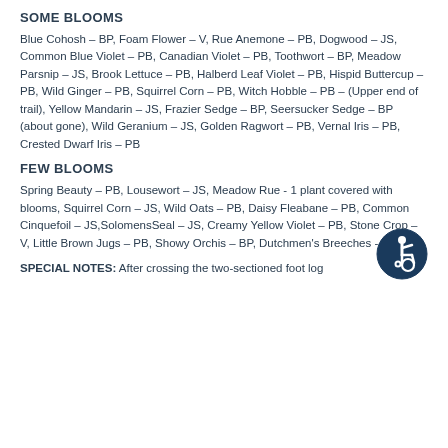SOME BLOOMS
Blue Cohosh – BP, Foam Flower – V, Rue Anemone – PB, Dogwood – JS, Common Blue Violet – PB, Canadian Violet – PB, Toothwort – BP, Meadow Parsnip – JS, Brook Lettuce – PB, Halberd Leaf Violet – PB, Hispid Buttercup – PB, Wild Ginger – PB, Squirrel Corn – PB, Witch Hobble – PB – (Upper end of trail), Yellow Mandarin – JS, Frazier Sedge – BP, Seersucker Sedge – BP (about gone), Wild Geranium – JS, Golden Ragwort – PB, Vernal Iris – PB, Crested Dwarf Iris – PB
[Figure (illustration): Wheelchair accessibility icon — blue circle with white stylized figure in wheelchair]
FEW BLOOMS
Spring Beauty – PB, Lousewort – JS, Meadow Rue - 1 plant covered with blooms, Squirrel Corn – JS, Wild Oats – PB, Daisy Fleabane – PB, Common Cinquefoil – JS,SolomensSeal – JS, Creamy Yellow Violet – PB, Stone Crop – V, Little Brown Jugs – PB, Showy Orchis – BP, Dutchmen's Breeches - BP
SPECIAL NOTES:  After crossing the two-sectioned foot log